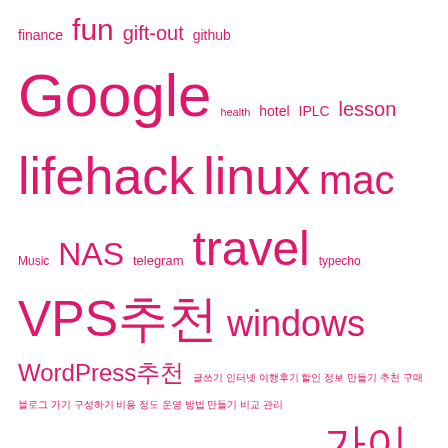[Figure (other): Tag cloud with Korean and English tags in varying pink/crimson font sizes: finance, fun, gift-out, github, Google, health, hotel, IPLC, lesson, lifehack, linux, mac, Music, NAS, telegram, travel, typecho, VPS추천, windows, WordPress추천, and various Korean tags]
Recent Posts
[VPS추천]밴쿠버8888포트무제한*무제한*무제한$88.88연간
[VPS추천] alphavps 2c1g AMD Ryzen 9 3900X 월15달
[VPS추천] 밴쿠버30m2T연간$4.5
[VPS추천]밴쿠버8888포트무제한*무제한*무제한$88.88연간
[VPS추천]밴쿠버8888포트무제한무제한무제한무제한$88.88연간
[VPS추천]Virmach $3.6 LA지역telegram